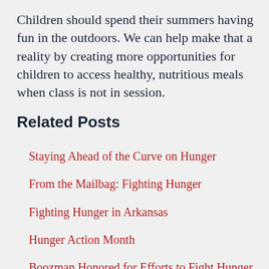Children should spend their summers having fun in the outdoors. We can help make that a reality by creating more opportunities for children to access healthy, nutritious meals when class is not in session.
Related Posts
Staying Ahead of the Curve on Hunger
From the Mailbag: Fighting Hunger
Fighting Hunger in Arkansas
Hunger Action Month
Boozman Honored for Efforts to Fight Hunger